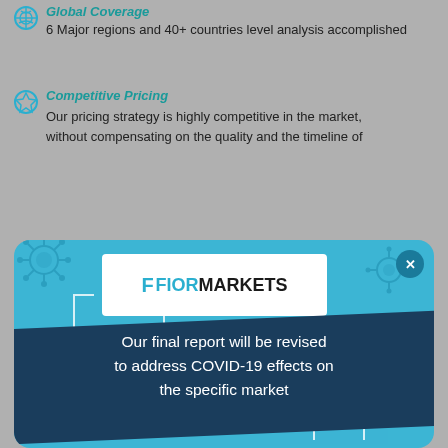6 Major regions and 40+ countries level analysis accomplished
Competitive Pricing
Our pricing strategy is highly competitive in the market, without compensating on the quality and the timeline of
[Figure (infographic): Fior Markets popup/modal overlay on teal background with COVID-19 decorative virus icons. Contains white Fior Markets logo at top, a dark navy diagonal banner with white text reading 'Our final report will be revised to address COVID-19 effects on the specific market', decorative white bracket corners, white decorative circles, and a teal close button with X in top right.]
Kennedy Brown
Health Technology Innovation
United States
[Figure (logo): HTI (Health Technology Innovation) logo - oval/ellipse shape with HTI text in bold black letters inside a dark bordered oval on white background]